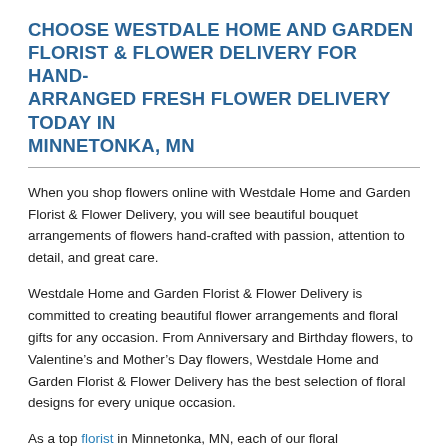CHOOSE WESTDALE HOME AND GARDEN FLORIST & FLOWER DELIVERY FOR HAND-ARRANGED FRESH FLOWER DELIVERY TODAY IN MINNETONKA, MN
When you shop flowers online with Westdale Home and Garden Florist & Flower Delivery, you will see beautiful bouquet arrangements of flowers hand-crafted with passion, attention to detail, and great care.
Westdale Home and Garden Florist & Flower Delivery is committed to creating beautiful flower arrangements and floral gifts for any occasion. From Anniversary and Birthday flowers, to Valentine’s and Mother’s Day flowers, Westdale Home and Garden Florist & Flower Delivery has the best selection of floral designs for every unique occasion.
As a top florist in Minnetonka, MN, each of our floral arrangements get the time and personalized attention they deserve. Westdale Home and Garden Florist & Flower Delivery passionately makes all bouquets in house, and personally